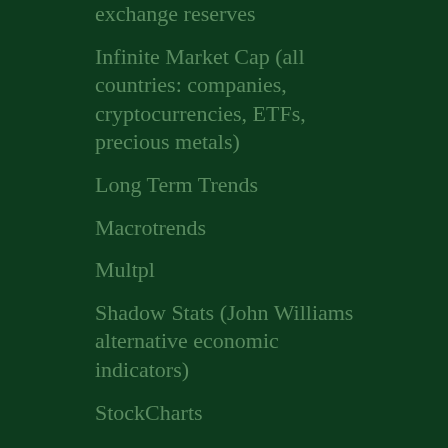exchange reserves
Infinite Market Cap (all countries: companies, cryptocurrencies, ETFs, precious metals)
Long Term Trends
Macrotrends
Multpl
Shadow Stats (John Williams alternative economic indicators)
StockCharts
Trading Economics
Trading View
VigiAccess (WHO worldwide vaccine adverse events)
World Population Review